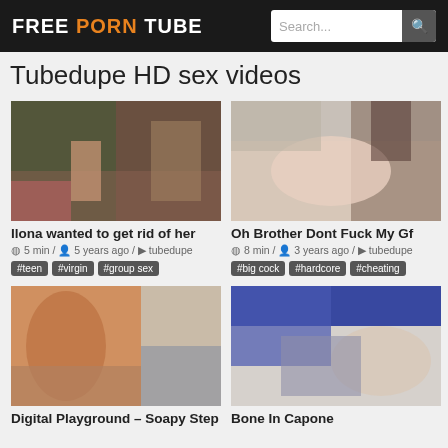FREE PORN TUBE
Tubedupe HD sex videos
[Figure (photo): Video thumbnail for Ilona wanted to get rid of her]
Ilona wanted to get rid of her
5 min / 5 years ago / tubedupe
#teen #virgin #group sex
[Figure (photo): Video thumbnail for Oh Brother Dont Fuck My Gf]
Oh Brother Dont Fuck My Gf
8 min / 3 years ago / tubedupe
#big cock #hardcore #cheating
[Figure (photo): Video thumbnail for Digital Playground - Soapy Step]
Digital Playground - Soapy Step
[Figure (photo): Video thumbnail for Bone In Capone]
Bone In Capone